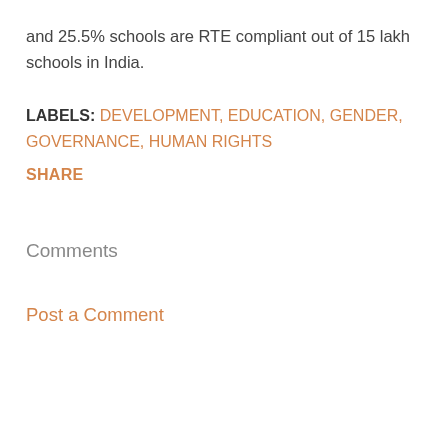and 25.5% schools are RTE compliant out of 15 lakh schools in India.
LABELS: DEVELOPMENT, EDUCATION, GENDER, GOVERNANCE, HUMAN RIGHTS
SHARE
Comments
Post a Comment